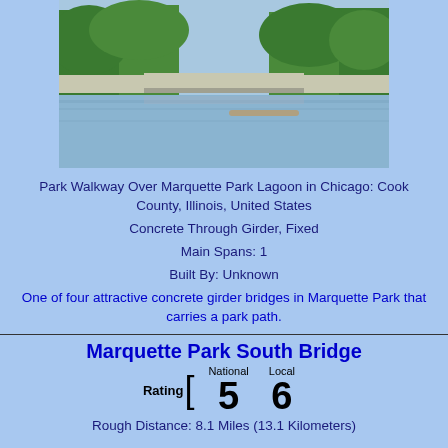[Figure (photo): Photo of a concrete through girder bridge (Park Walkway) over Marquette Park Lagoon with trees on both sides and calm water below]
Park Walkway Over Marquette Park Lagoon in Chicago: Cook County, Illinois, United States
Concrete Through Girder, Fixed
Main Spans: 1
Built By: Unknown
One of four attractive concrete girder bridges in Marquette Park that carries a park path.
Marquette Park South Bridge
|  | National | Local |
| --- | --- | --- |
| Rating | 5 | 6 |
Rough Distance: 8.1 Miles (13.1 Kilometers)